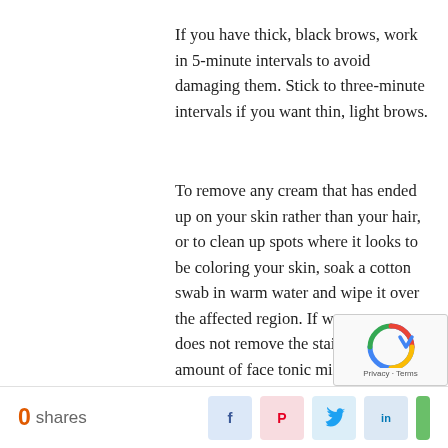If you have thick, black brows, work in 5-minute intervals to avoid damaging them. Stick to three-minute intervals if you want thin, light brows.
To remove any cream that has ended up on your skin rather than your hair, or to clean up spots where it looks to be coloring your skin, soak a cotton swab in warm water and wipe it over the affected region. If warm water does not remove the stain, a little amount of face tonic might be used to remove it.
To remove the color off your eyebrows, use a dry cotton pad to wipe them off. Close your eyes to prevent any dye from going into them.
Examine the color of your brows by smoothing them out. If the dye does not take, continue the dyeing procedure for another 3-5 minutes until
0 shares